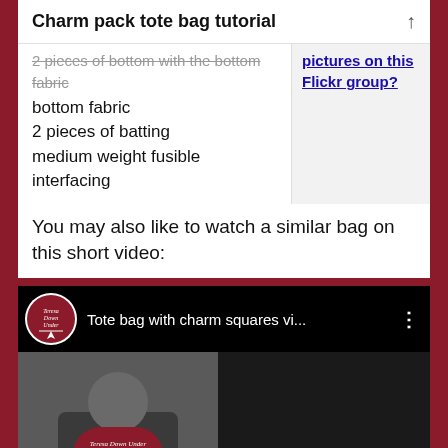Charm pack tote bag tutorial
bottom fabric
2 pieces of batting
medium weight fusible interfacing
pictures on this Flickr group?
You may also like to watch a similar bag on this short video:
[Figure (screenshot): YouTube video thumbnail showing 'Tote bag with charm squares vi...' with Teresa Down Under channel logo, a person holding a bag on the left, and bold text 'HOW TO MAKE A' on the right.]